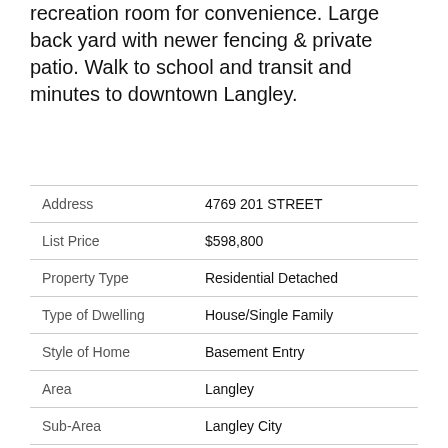recreation room for convenience. Large back yard with newer fencing & private patio. Walk to school and transit and minutes to downtown Langley.
| Field | Value |
| --- | --- |
| Address | 4769 201 STREET |
| List Price | $598,800 |
| Property Type | Residential Detached |
| Type of Dwelling | House/Single Family |
| Style of Home | Basement Entry |
| Area | Langley |
| Sub-Area | Langley City |
| Bedrooms | 3 |
| Bathrooms | 3 |
| Floor Area | 2,212 Sq. Ft. |